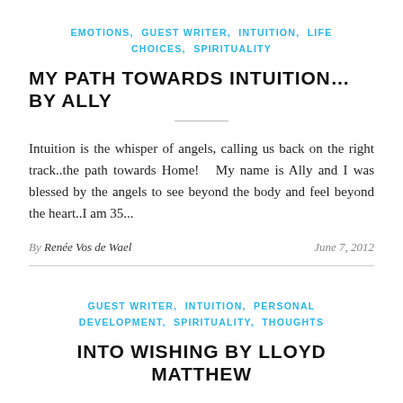EMOTIONS, GUEST WRITER, INTUITION, LIFE CHOICES, SPIRITUALITY
MY PATH TOWARDS INTUITION…BY ALLY
Intuition is the whisper of angels, calling us back on the right track..the path towards Home!   My name is Ally and I was blessed by the angels to see beyond the body and feel beyond the heart..I am 35...
By Renée Vos de Wael   June 7, 2012
GUEST WRITER, INTUITION, PERSONAL DEVELOPMENT, SPIRITUALITY, THOUGHTS
INTO WISHING BY LLOYD MATTHEW